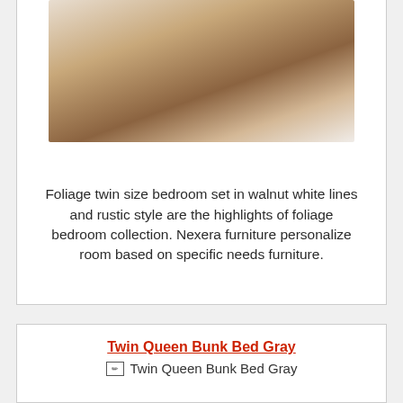[Figure (photo): Foliage twin size bedroom set with walnut wood finish and white panels, showing a bed with storage drawer at the bottom]
Foliage twin size bedroom set in walnut white lines and rustic style are the highlights of foliage bedroom collection. Nexera furniture personalize room based on specific needs furniture.
Twin Queen Bunk Bed Gray
[Figure (photo): Twin Queen Bunk Bed Gray (broken image)]